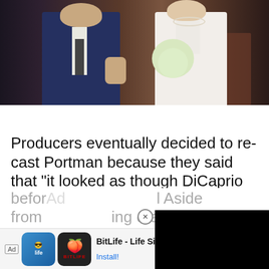[Figure (photo): Wedding photo showing a man in a dark blue suit and a woman in a white sleeveless dress holding a bouquet of white flowers, standing together in what appears to be a church or formal setting.]
Producers eventually decided to re-cast Portman because they said that “it looked as though DiCaprio was molesting her” in the romantic scenes.” Yikes! Eventually the role went to Claire [obscured] is history. We’re glad t[obscured] looking out for young [obscured]
befor[obscured] Aside from [obscured] drama, [obscured]
[Figure (screenshot): Advertisement for BitLife - Life Simulator app, showing the BitLife logo with a sperm icon, app name, and Install button.]